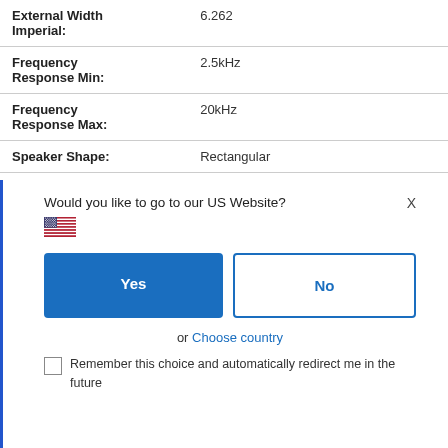| Attribute | Value |
| --- | --- |
| External Width Imperial: | 6.262 |
| Frequency Response Min: | 2.5kHz |
| Frequency Response Max: | 20kHz |
| Speaker Shape: | Rectangular |
Would you like to go to our US Website?
Yes
No
or Choose country
Remember this choice and automatically redirect me in the future